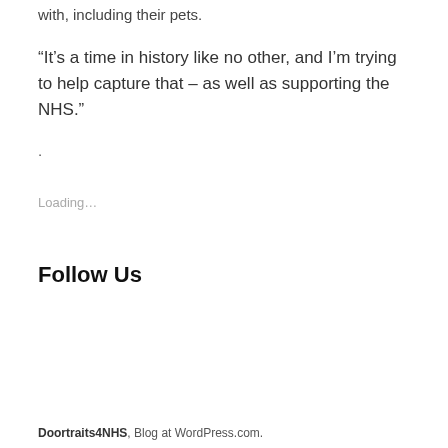with, including their pets.
“It’s a time in history like no other, and I’m trying to help capture that – as well as supporting the NHS.”
.
Loading…
Follow Us
Doortraits4NHS, Blog at WordPress.com.